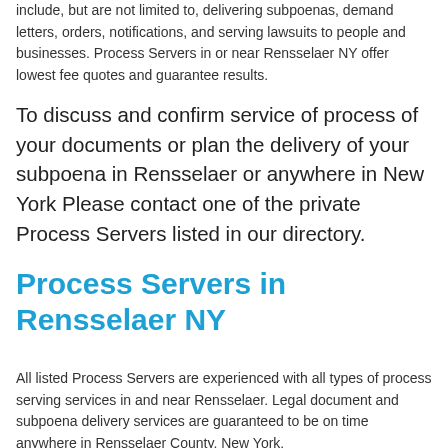include, but are not limited to, delivering subpoenas, demand letters, orders, notifications, and serving lawsuits to people and businesses. Process Servers in or near Rensselaer NY offer lowest fee quotes and guarantee results.
To discuss and confirm service of process of your documents or plan the delivery of your subpoena in Rensselaer or anywhere in New York Please contact one of the private Process Servers listed in our directory.
Process Servers in Rensselaer NY
All listed Process Servers are experienced with all types of process serving services in and near Rensselaer. Legal document and subpoena delivery services are guaranteed to be on time anywhere in Rensselaer County, New York.